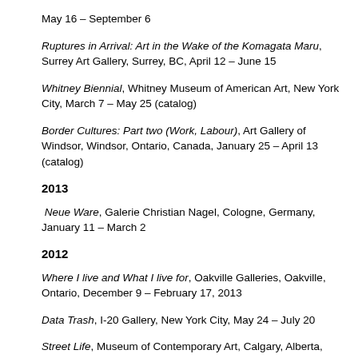May 16 – September 6
Ruptures in Arrival: Art in the Wake of the Komagata Maru, Surrey Art Gallery, Surrey, BC, April 12 – June 15
Whitney Biennial, Whitney Museum of American Art, New York City, March 7 – May 25 (catalog)
Border Cultures: Part two (Work, Labour), Art Gallery of Windsor, Windsor, Ontario, Canada, January 25 – April 13 (catalog)
2013
Neue Ware, Galerie Christian Nagel, Cologne, Germany, January 11 – March 2
2012
Where I live and What I live for, Oakville Galleries, Oakville, Ontario, December 9 – February 17, 2013
Data Trash, I-20 Gallery, New York City, May 24 – July 20
Street Life, Museum of Contemporary Art, Calgary, Alberta, March 8 – September 25